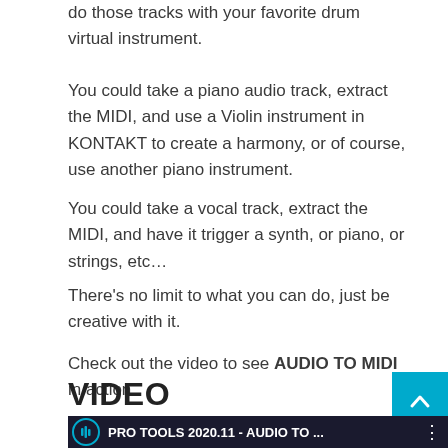do those tracks with your favorite drum virtual instrument.
You could take a piano audio track, extract the MIDI, and use a Violin instrument in KONTAKT to create a harmony, or of course, use another piano instrument.
You could take a vocal track, extract the MIDI, and have it trigger a synth, or piano, or strings, etc…
There's no limit to what you can do, just be creative with it.
Check out the video to see AUDIO TO MIDI in action.
VIDEO
[Figure (screenshot): Video thumbnail showing Pro Tools 2020.11 - AUDIO TO ... with a headphone icon and dark DAW interface background]